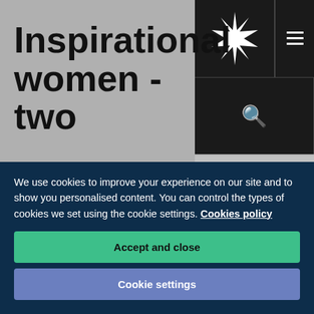Inspirational women - two
Home / About / News / Life at the University / Inspiration - two
Published: 9 March 2020
[Figure (screenshot): University website navigation bar with logo, hamburger menu, search icon, and Accessibility button]
We use cookies to improve your experience on our site and to show you personalised content. You can control the types of cookies we set using the cookie settings. Cookies policy
Accept and close
Cookie settings